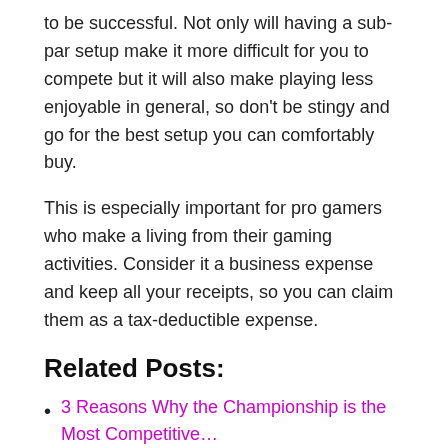to be successful. Not only will having a sub-par setup make it more difficult for you to compete but it will also make playing less enjoyable in general, so don't be stingy and go for the best setup you can comfortably buy.
This is especially important for pro gamers who make a living from their gaming activities. Consider it a business expense and keep all your receipts, so you can claim them as a tax-deductible expense.
Related Posts:
3 Reasons Why the Championship is the Most Competitive…
3 Crucial Tips for Travelers Who Wouldn't Like to Miss Any…
5 Best YouTube Microphones For Gamers 2022 - Buying…